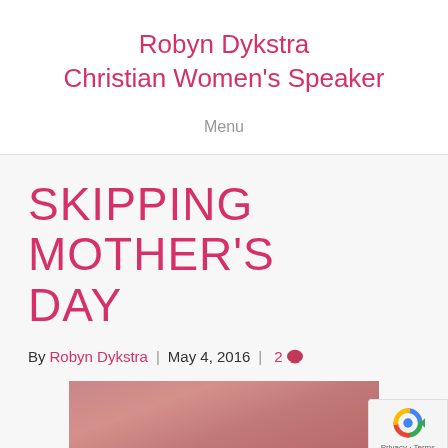Robyn Dykstra Christian Women's Speaker
Menu
SKIPPING MOTHER'S DAY
By Robyn Dykstra | May 4, 2016 | 2
[Figure (photo): Pink painted wood surface with a small figure at the bottom center]